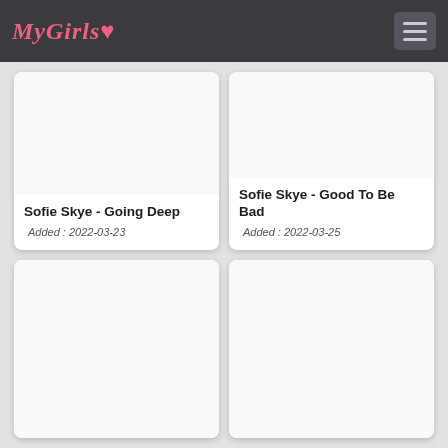MyGirls ♥
Sofie Skye - Going Deep
Added : 2022-03-23
Sofie Skye - Good To Be Bad
Added : 2022-03-25
[Figure (photo): Empty card placeholder bottom left]
[Figure (photo): Empty card placeholder bottom right]